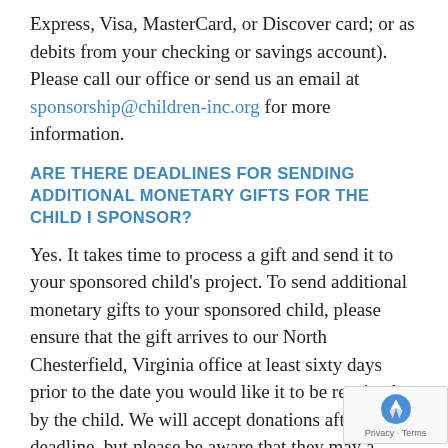Express, Visa, MasterCard, or Discover card; or as debits from your checking or savings account). Please call our office or send us an email at sponsorship@children-inc.org for more information.
ARE THERE DEADLINES FOR SENDING ADDITIONAL MONETARY GIFTS FOR THE CHILD I SPONSOR?
Yes. It takes time to process a gift and send it to your sponsored child's project. To send additional monetary gifts to your sponsored child, please ensure that the gift arrives to our North Chesterfield, Virginia office at least sixty days prior to the date you would like it to be received by the child. We will accept donations after this deadline, but please be aware that they may arrive late to your sponsored child.